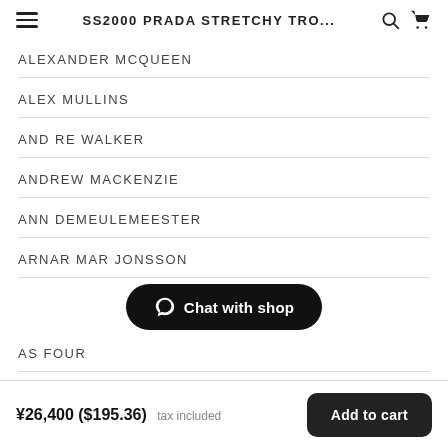SS2000 PRADA STRETCHY TRO...
ALEXANDER MCQUEEN
ALEX MULLINS
AND RE WALKER
ANDREW MACKENZIE
ANN DEMEULEMEESTER
ARNAR MAR JONSSON
AS FOUR
Chat with shop
¥26,400 ($195.36) tax included   Add to cart